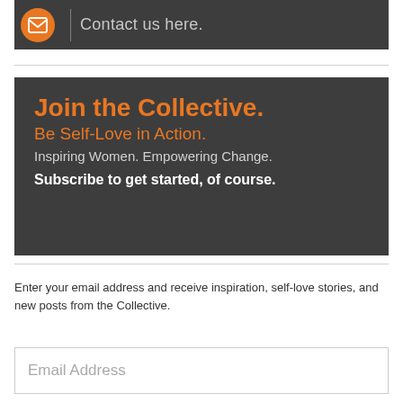[Figure (infographic): Dark gray banner with orange circle email icon on left, vertical divider line, and text 'Contact us here.' in gray on right]
[Figure (infographic): Dark gray banner with orange bold text 'Join the Collective.' on first line, orange 'Be Self-Love in Action.' on second line, gray 'Inspiring Women. Empowering Change.' on third line, and white bold 'Subscribe to get started, of course.' on fourth line]
Enter your email address and receive inspiration, self-love stories, and new posts from the Collective.
Email Address